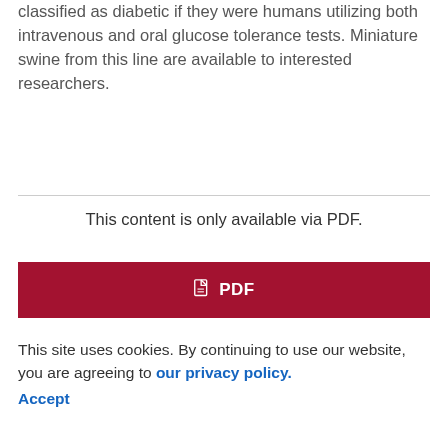classified as diabetic if they were humans utilizing both intravenous and oral glucose tolerance tests. Miniature swine from this line are available to interested researchers.
This content is only available via PDF.
[Figure (other): Red PDF download button with PDF icon and label]
This site uses cookies. By continuing to use our website, you are agreeing to our privacy policy. Accept